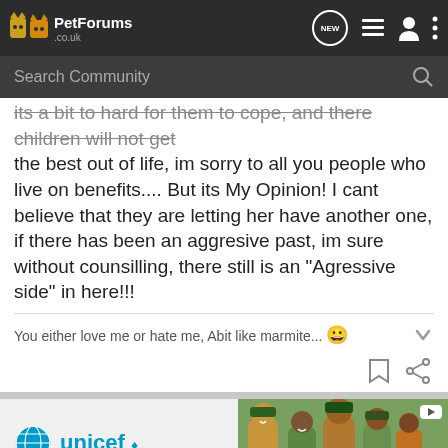PetForums .co.uk
Search Community
its a bit to hard for them to cope, and there children will not get the best out of life, im sorry to all you people who live on benefits.... But its My Opinion! I cant believe that they are letting her have another one, if there has been an aggresive past, im sure without counsilling, there still is an "Agressive side" in here!!!
You either love me or hate me, Abit like marmite... 😀
[Figure (screenshot): UNICEF advertisement banner with children photo and unicef logo]